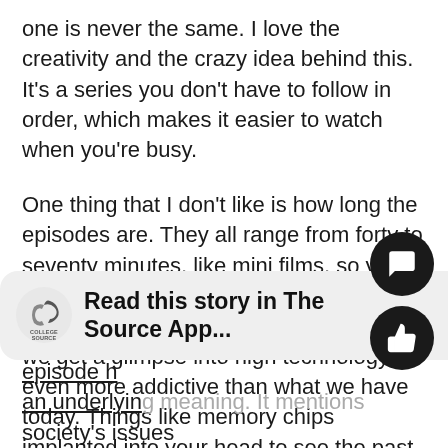one is never the same. I love the creativity and the crazy idea behind this. It's a series you don't have to follow in order, which makes it easier to watch when you're busy.
One thing that I don't like is how long the episodes are. They all range from forty to seventy minutes, like mini films, so you really must set aside time to watch it. In this future world that the show creates, we get a glimpse into high technology, even more addictive than what we have today. Things like memory chips implanted into your head to see the past and press replay, and parental chips that monitor and allow what children can be exposed to, are both just glimpses into what this show brings out.
[Figure (infographic): Read this story in The Source App... banner with College Source logo]
Not only does Black Mirror represent this high-tech society that we live in, but almost every episode h... an underlying meaning. It mentions society's issues...